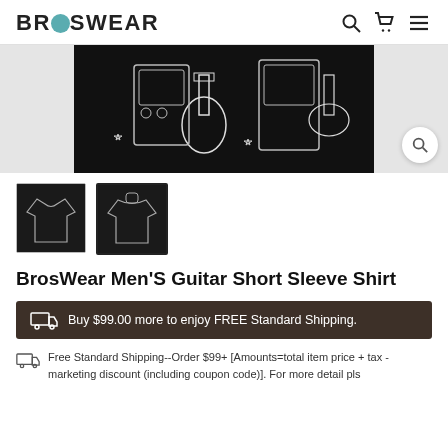BROSWEAR
[Figure (photo): Close-up of BrosWear Men's Guitar Short Sleeve Shirt fabric pattern featuring guitars, amplifiers and stars on black background, with magnify button]
[Figure (photo): Two thumbnail images of BrosWear Men's Guitar Short Sleeve Shirt - front view and back view on black background]
BrosWear Men'S Guitar Short Sleeve Shirt
Buy $99.00 more to enjoy FREE Standard Shipping.
Free Standard Shipping--Order $99+ [Amounts=total item price + tax - marketing discount (including coupon code)]. For more detail pls